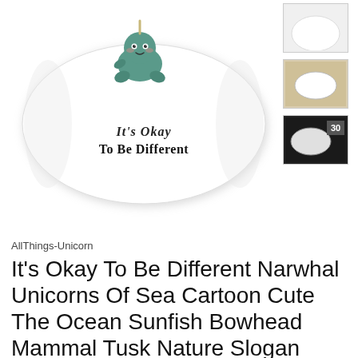[Figure (photo): A white rectangular pillow with a cute cartoon narwhal illustration and text reading 'It's Okay To Be Different' printed on it]
[Figure (photo): Small thumbnail of the same pillow, mostly white, cropped top view]
[Figure (photo): Small thumbnail showing the pillow on a tan/beige background]
[Figure (photo): Small black and white thumbnail showing the pillow with a size label '30']
AllThings-Unicorn
It's Okay To Be Different Narwhal Unicorns Of Sea Cartoon Cute The Ocean Sunfish Bowhead Mammal Tusk Nature Slogan Cushion Cover Sofa Home Cool Birthday Gift Present